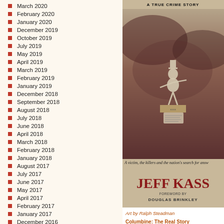March 2020
February 2020
January 2020
December 2019
October 2019
July 2019
May 2019
April 2019
March 2019
February 2019
January 2019
December 2018
September 2018
August 2018
July 2018
June 2018
April 2018
March 2018
February 2018
January 2018
August 2017
July 2017
June 2017
May 2017
April 2017
February 2017
January 2017
December 2016
[Figure (illustration): Book cover for a true crime story by Jeff Kass with foreword by Douglas Brinkley, art by Ralph Steadman. Shows a skeletal figure on a base with a scroll, dark moody background.]
Art by Ralph Steadman
Columbine: The Real Story
One-year retrospective: One year ago I was one of the first reporters on the scene of the Columbine April 20, 1999, had completed the definitive A True Crime Story. (I collaborated on the proj of shooters Eric Harris and Dylan Kle